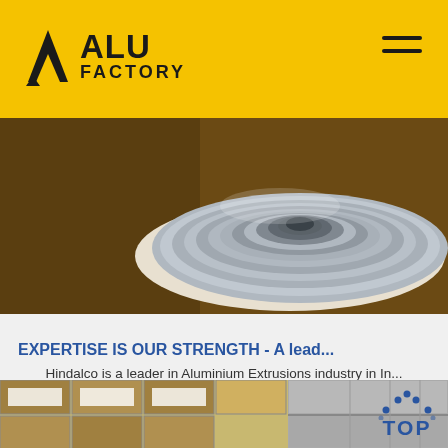ALU FACTORY
[Figure (photo): A large aluminum coil/roll on a wooden surface, silver metallic finish, viewed from above]
EXPERTISE IS OUR STRENGTH - A lead...
Hindalco is a leader in Aluminium Extrusions industry in In...
Get Price
[Figure (photo): Warehouse with stacked boxes and aluminum billets/blocks on pallets]